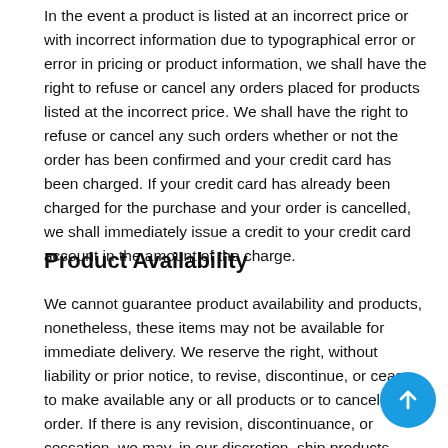In the event a product is listed at an incorrect price or with incorrect information due to typographical error or error in pricing or product information, we shall have the right to refuse or cancel any orders placed for products listed at the incorrect price. We shall have the right to refuse or cancel any such orders whether or not the order has been confirmed and your credit card has been charged. If your credit card has already been charged for the purchase and your order is cancelled, we shall immediately issue a credit to your credit card account in the amount of the charge.
Product Availability
We cannot guarantee product availability and products, nonetheless, these items may not be available for immediate delivery. We reserve the right, without liability or prior notice, to revise, discontinue, or cease to make available any or all products or to cancel any order. If there is any revision, discontinuance, or cessation, we may, in our discretion, ship products which have substantially similar functionality and specifications to the products ordered or cancel your order.